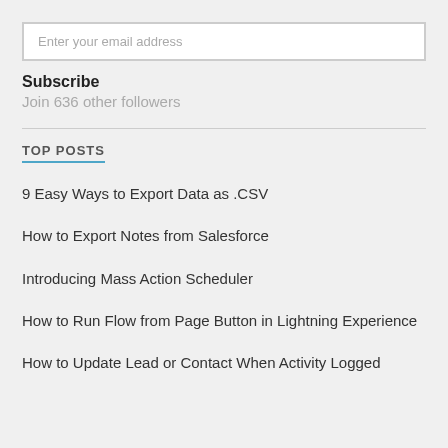Enter your email address
Subscribe
Join 636 other followers
TOP POSTS
9 Easy Ways to Export Data as .CSV
How to Export Notes from Salesforce
Introducing Mass Action Scheduler
How to Run Flow from Page Button in Lightning Experience
How to Update Lead or Contact When Activity Logged